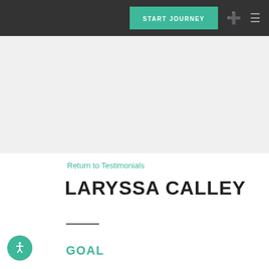START JOURNEY
[Figure (illustration): Gray hero image area placeholder]
Return to Testimonials
LARYSSA CALLEY
GOAL